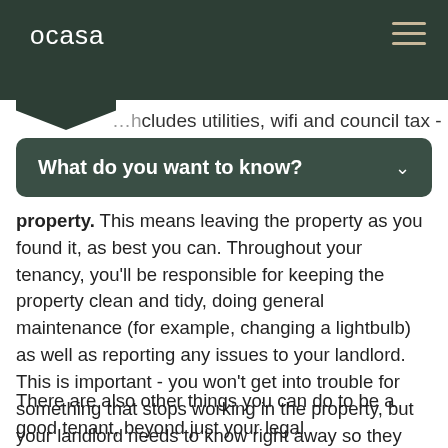ocasa
…includes utilities, wifi and council tax -
What do you want to know?
property. This means leaving the property as you found it, as best you can. Throughout your tenancy, you'll be responsible for keeping the property clean and tidy, doing general maintenance (for example, changing a lightbulb) as well as reporting any issues to your landlord. This is important - you won't get into trouble for something that stops working in the property, but your landlord needs to know right away so they can fix it.
There are also other things you can do to be a good tenant, beyond just your legal responsibilities.